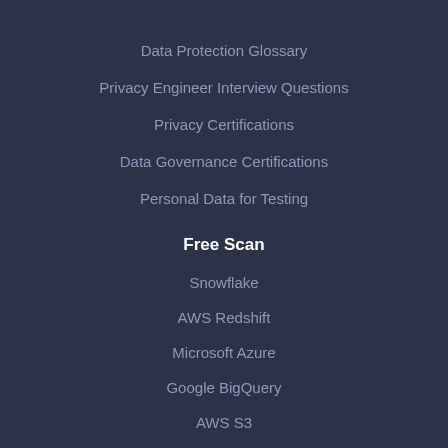Data Protection Glossary
Privacy Engineer Interview Questions
Privacy Certifications
Data Governance Certifications
Personal Data for Testing
Free Scan
Snowflake
AWS Redshift
Microsoft Azure
Google BigQuery
AWS S3
About Us
Company